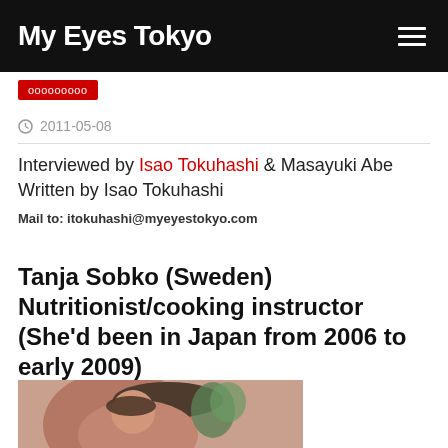My Eyes Tokyo
ооооооооо
2011-05-08
Interviewed by Isao Tokuhashi & Masayuki Abe
Written by Isao Tokuhashi
Mail to: itokuhashi@myeyestokyo.com
Tanja Sobko (Sweden) Nutritionist/cooking instructor (She'd been in Japan from 2006 to early 2009)
[Figure (photo): Photo of Tanja Sobko, a woman with reddish-brown hair and sunglasses on her head, with green plant visible in background]